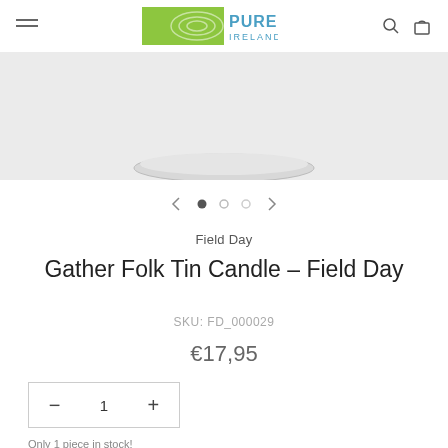[Figure (logo): Pure Ireland logo with lime green graphic panel and blue text]
[Figure (photo): Top portion of a round tin candle product on light grey background]
[Figure (other): Image carousel navigation: left arrow, three dots (first filled, two empty), right arrow]
Field Day
Gather Folk Tin Candle – Field Day
SKU: FD_000029
€17,95
[Figure (other): Quantity selector showing minus button, value 1, plus button in a bordered box]
Only 1 piece in stock!